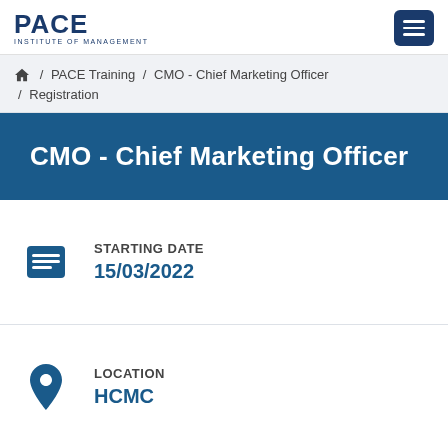PACE INSTITUTE OF MANAGEMENT
Home / PACE Training / CMO - Chief Marketing Officer / Registration
CMO - Chief Marketing Officer
STARTING DATE
15/03/2022
LOCATION
HCMC